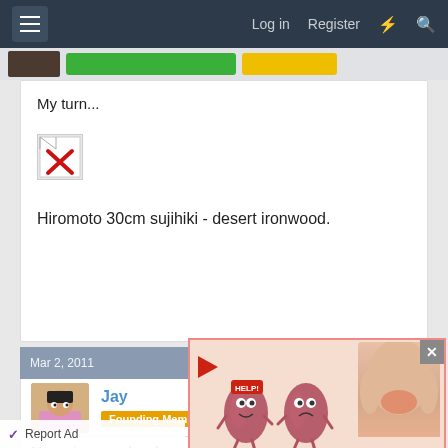Log in  Register
My turn...
[Figure (other): Broken image placeholder with red X icon]
Hiromoto 30cm sujihiki - desert ironwood.
Mar 2, 2011  #5
Jay
Founding Member
Nice pics, steeley, but w
something about that t...
[Figure (other): Advertisement: Kidney Stones symptoms ad with cartoon kidney characters and a person's back showing kidney pain area]